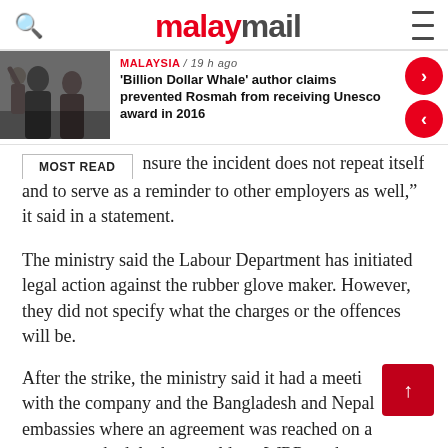malaymail
[Figure (screenshot): News article thumbnail showing people in crowd, with category label MALAYSIA / 19 h ago and headline: 'Billion Dollar Whale' author claims prevented Rosmah from receiving Unesco award in 2016]
MOST READ
nsure the incident does not repeat itself and to serve as a reminder to other employers as well," it said in a statement.
The ministry said the Labour Department has initiated legal action against the rubber glove maker. However, they did not specify what the charges or the offences will be.
After the strike, the ministry said it had a meeting with the company and the Bangladesh and Nepal embassies where an agreement was reached on a payment schedule that would see WRP workers